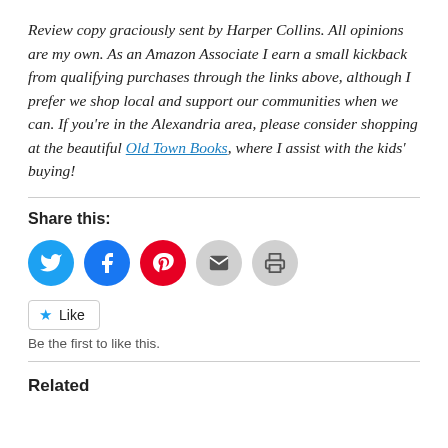Review copy graciously sent by Harper Collins. All opinions are my own. As an Amazon Associate I earn a small kickback from qualifying purchases through the links above, although I prefer we shop local and support our communities when we can. If you're in the Alexandria area, please consider shopping at the beautiful Old Town Books, where I assist with the kids' buying!
Share this:
[Figure (infographic): Row of five social sharing icon circles: Twitter (blue), Facebook (blue), Pinterest (red), Email (gray), Print (gray)]
[Figure (infographic): WordPress Like button with a star icon and the label 'Like']
Be the first to like this.
Related